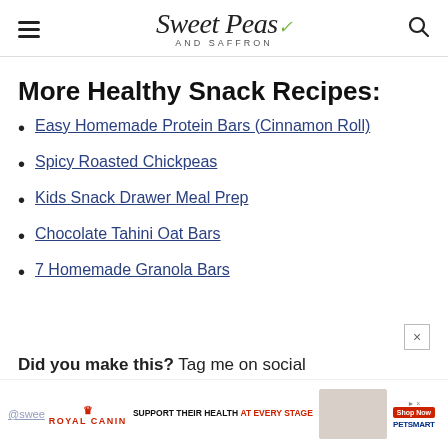Sweet Peas and Saffron
More Healthy Snack Recipes:
Easy Homemade Protein Bars (Cinnamon Roll)
Spicy Roasted Chickpeas
Kids Snack Drawer Meal Prep
Chocolate Tahini Oat Bars
7 Homemade Granola Bars
Did you make this? Tag me on social
[Figure (other): Royal Canin advertisement banner: Support Their Health At Every Stage, PetSmart Shop Now button]